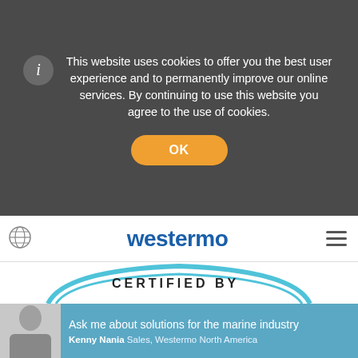This website uses cookies to offer you the best user experience and to permanently improve our online services. By continuing to use this website you agree to the use of cookies.
OK
[Figure (logo): Westermo brand logo in blue bold text]
[Figure (logo): DNV GL certification logo with circular certified by badge and blue/green horizontal stripes]
Ask me about solutions for the marine industry
Kenny Nania Sales, Westermo North America